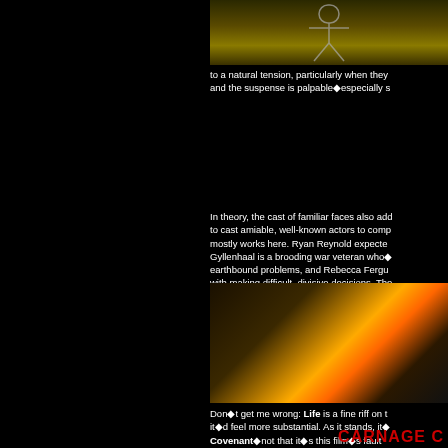[Figure (photo): Top image showing a skeletal or dark figure, partially visible, cropped at top of right column]
to a natural tension, particularly when they and the suspense is palpable◆especially s
In theory, the cast of familiar faces also add to cast amiable, well-known actors to comp mostly works here. Ryan Reynold expecte Gyllenhaal is a brooding war veteran who◆ earthbound problems, and Rebecca Fergu with making difficult, divisive decisions. The maximum pathos with minimum effort. I me Sanada◆s pilot character is that his wife g sympathy. It works well enough, and an int to The Martian◆s yang◆it◆s almost like
[Figure (photo): Middle image showing a person illuminated by bright orange/yellow explosion or fire light in a spacecraft interior]
Don◆t get me wrong: Life is a fine riff on t it◆d feel more substantial. As it stands, it◆ Covenant◆not that it◆s this film◆s fault universe, mind you.
CARNAGE C